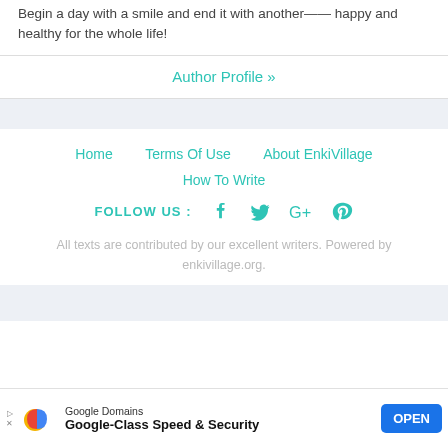Begin a day with a smile and end it with another—— happy and healthy for the whole life!
Author Profile »
Home    Terms Of Use    About EnkiVillage
How To Write
FOLLOW US :
All texts are contributed by our excellent writers. Powered by enkivillage.org.
[Figure (other): Google Domains advertisement banner with logo and OPEN button. Text: Google Domains / Google-Class Speed & Security]